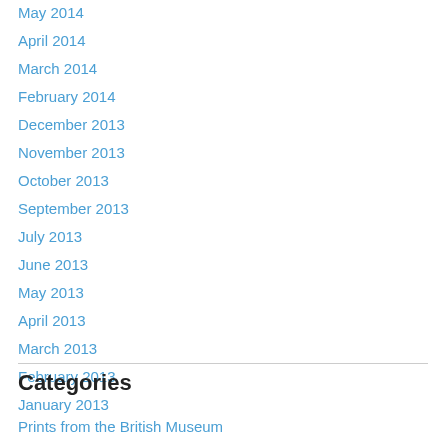May 2014
April 2014
March 2014
February 2014
December 2013
November 2013
October 2013
September 2013
July 2013
June 2013
May 2013
April 2013
March 2013
February 2013
January 2013
Categories
Prints from the British Museum